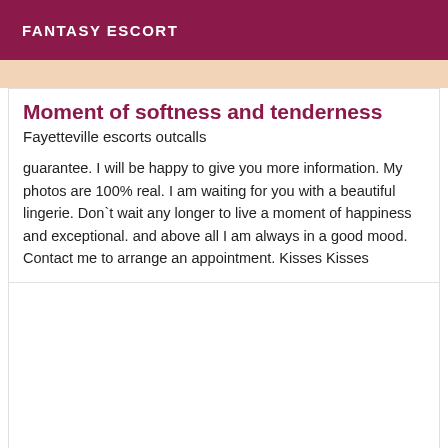FANTASY ESCORT
Moment of softness and tenderness
Fayetteville escorts outcalls
guarantee. I will be happy to give you more information. My photos are 100% real. I am waiting for you with a beautiful lingerie. Don`t wait any longer to live a moment of happiness and exceptional. and above all I am always in a good mood. Contact me to arrange an appointment. Kisses Kisses
[Figure (photo): Black and white photo of a woman with long blonde hair, wearing a dark leather outfit, photographed from behind/side angle]